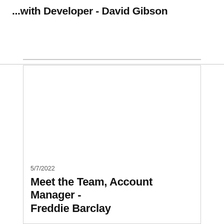...with Developer - David Gibson
5/7/2022
Meet the Team, Account Manager - Freddie Barclay